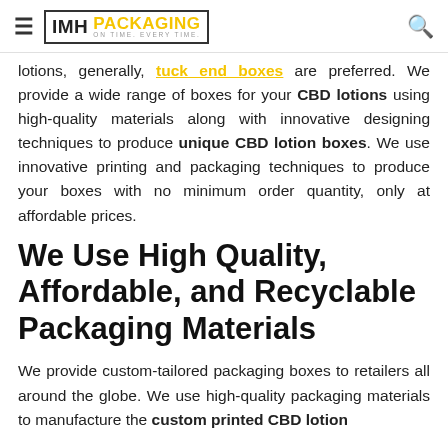IMH PACKAGING ON TIME. EVERY TIME.
lotions, generally, tuck end boxes are preferred. We provide a wide range of boxes for your CBD lotions using high-quality materials along with innovative designing techniques to produce unique CBD lotion boxes. We use innovative printing and packaging techniques to produce your boxes with no minimum order quantity, only at affordable prices.
We Use High Quality, Affordable, and Recyclable Packaging Materials
We provide custom-tailored packaging boxes to retailers all around the globe. We use high-quality packaging materials to manufacture the custom printed CBD lotion boxes.